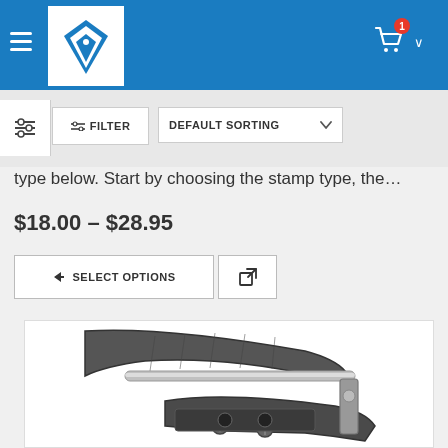[Figure (logo): Pen nib logo on white square background in blue header bar]
type below. Start by choosing the stamp type, the…
$18.00 – $28.95
→ SELECT OPTIONS
[Figure (photo): A metal hole punch / embosser tool with grey rubber grip handle on white background]